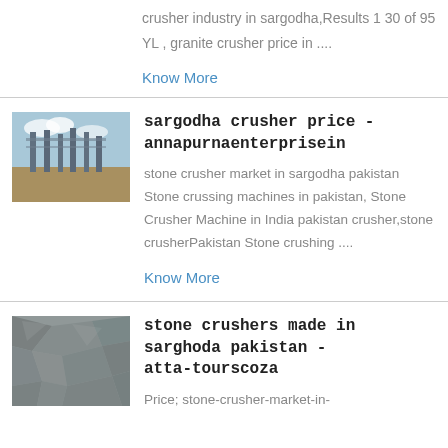crusher industry in sargodha,Results 1 30 of 95 YL , granite crusher price in ....
Know More
[Figure (photo): Construction site with metal columns or structures against a partly cloudy sky]
sargodha crusher price - annapurnaenterprisein
stone crusher market in sargodha pakistan Stone crussing machines in pakistan, Stone Crusher Machine in India pakistan crusher,stone crusherPakistan Stone crushing ....
Know More
[Figure (photo): Close-up of crushed rock or stone material]
stone crushers made in sarghoda pakistan - atta-tourscoza
Price; stone-crusher-market-in-